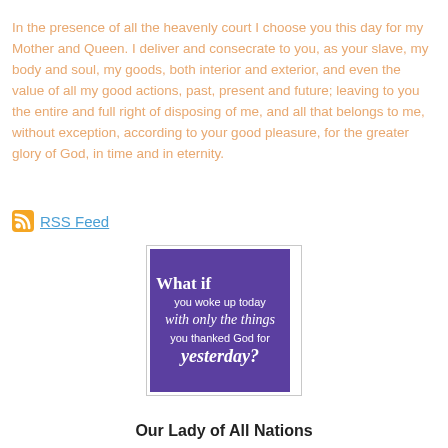In the presence of all the heavenly court I choose you this day for my Mother and Queen. I deliver and consecrate to you, as your slave, my body and soul, my goods, both interior and exterior, and even the value of all my good actions, past, present and future; leaving to you the entire and full right of disposing of me, and all that belongs to me, without exception, according to your good pleasure, for the greater glory of God, in time and in eternity.
RSS Feed
[Figure (illustration): Purple square image with white text reading: 'What if you woke up today with only the things you thanked God for yesterday?']
Our Lady of All Nations